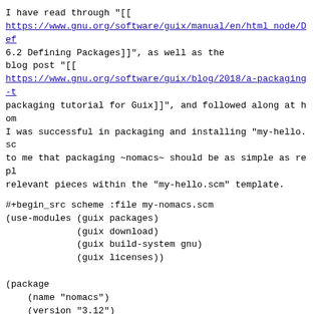I have read through "[[
https://www.gnu.org/software/guix/manual/en/html_node/Def
6.2 Defining Packages]]", as well as the
blog post "[[
https://www.gnu.org/software/guix/blog/2018/a-packaging-t
packaging tutorial for Guix]]", and followed along at hom
I was successful in packaging and installing "my-hello.sc
to me that packaging ~nomacs~ should be as simple as repl
relevant pieces within the "my-hello.scm" template.
#+begin_src scheme :file my-nomacs.scm
(use-modules (guix packages)
             (guix download)
             (guix build-system gnu)
             (guix licenses))

(package
    (name "nomacs")
    (version "3.12")
    (source (origin
             (method url-fetch)
             (uri (string-append "https://github.com/nomacs/no
version
                      ".tar.gz"))
        (sha256
          (base32
"f4a32169e6c0cb939971da2732e4d67c6e2e649506da1b55bfc94963
  (build-system gnu-build-system)